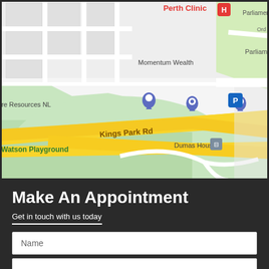[Figure (map): Google Maps screenshot showing Perth Clinic area with Kings Park Rd, Parliament House, Momentum Wealth, Watson Playground, Dumas House, Biodiversity marker, and various location pins]
Make An Appointment
Get in touch with us today
Name